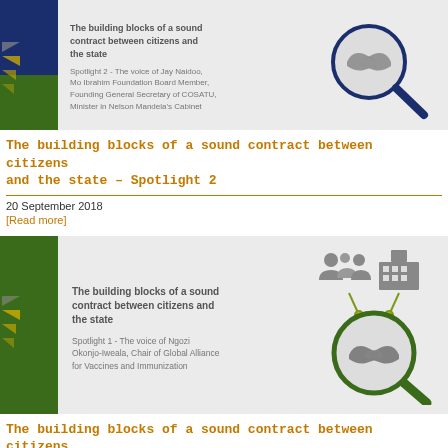[Figure (illustration): Card with dark blue and green sidebar with triangular chevrons, text about Spotlight 2 / Jay Naidoo, and a magnifying glass with handshake icon]
The building blocks of a sound contract between citizens and the state – Spotlight 2
20 September 2018
[Read more]
[Figure (illustration): Card with dark green sidebar with triangular chevrons, text about building blocks of sound contract/Spotlight 1 / Ngozi Okonjo-Iweala, and a magnifying glass with handshake and people/building icons]
The building blocks of a sound contract between citizens and the state – Spotlight 1